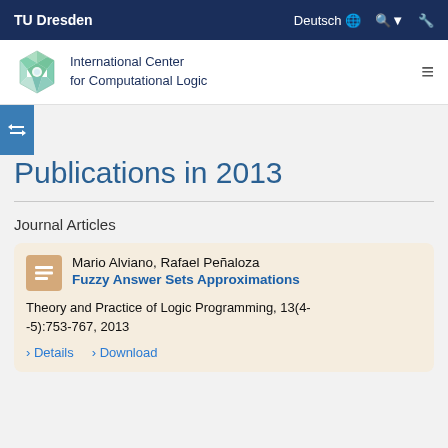TU Dresden   Deutsch   🔍   🔧
[Figure (logo): International Center for Computational Logic logo - stylized geometric shape in green and blue tones]
International Center for Computational Logic
Publications in 2013
Journal Articles
Mario Alviano, Rafael Peñaloza
Fuzzy Answer Sets Approximations
Theory and Practice of Logic Programming, 13(4-5):753-767, 2013
Details   Download